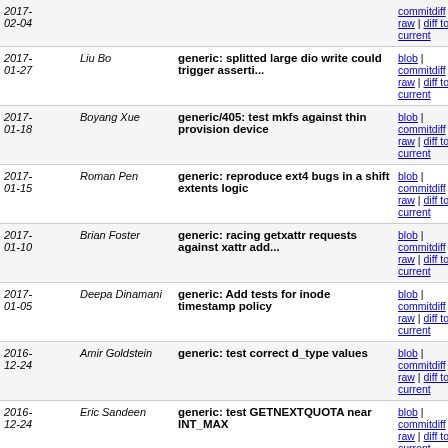| Date | Author | Commit message | Links |
| --- | --- | --- | --- |
| 2017-02-04 |  |  | commitdiff | raw | diff to current |
| 2017-01-27 | Liu Bo | generic: splitted large dio write could trigger asserti... | blob | commitdiff | raw | diff to current |
| 2017-01-18 | Boyang Xue | generic/405: test mkfs against thin provision device | blob | commitdiff | raw | diff to current |
| 2017-01-15 | Roman Pen | generic: reproduce ext4 bugs in a shift extents logic | blob | commitdiff | raw | diff to current |
| 2017-01-10 | Brian Foster | generic: racing getxattr requests against xattr add... | blob | commitdiff | raw | diff to current |
| 2017-01-05 | Deepa Dinamani | generic: Add tests for inode timestamp policy | blob | commitdiff | raw | diff to current |
| 2016-12-24 | Amir Goldstein | generic: test correct d_type values | blob | commitdiff | raw | diff to current |
| 2016-12-24 | Eric Sandeen | generic: test GETNEXTQUOTA near INT_MAX | blob | commitdiff | raw | diff to current |
| 2016-12-24 | Eric Biggers | generic: test for weaknesses in filesystem encryption | blob | commitdiff | raw | diff to current |
| 2016-12-24 | Eric Biggers | generic: test enforcement of one encryption policy... | blob | commitdiff | raw | diff to current |
| 2016-12-24 | Eric Biggers | generic: test encrypted file ... | blob | commitdiff |